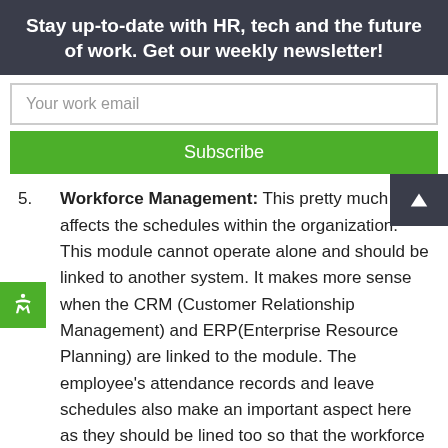Stay up-to-date with HR, tech and the future of work. Get our weekly newsletter!
Your work email
Subscribe
5. Workforce Management: This pretty much affects the schedules within the organization. This module cannot operate alone and should be linked to another system. It makes more sense when the CRM (Customer Relationship Management) and ERP(Enterprise Resource Planning) are linked to the module. The employee's attendance records and leave schedules also make an important aspect here as they should be lined too so that the workforce management can be run efficiently with this human resource software.